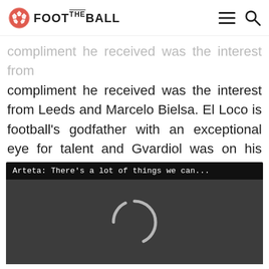FOOT THE BALL
compliment he received was the interest from Leeds and Marcelo Bielsa. El Loco is football's godfather with an exceptional eye for talent and Gvardiol was on his radar even though Leeds eventually failed to get their man.
[Figure (screenshot): Embedded video player with dark background showing a loading spinner. Title bar reads: Arteta: There's a lot of things we can...]